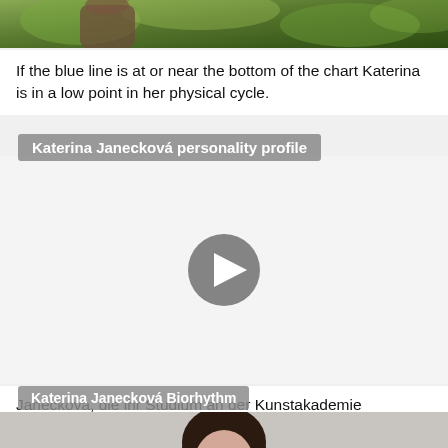[Figure (photo): Top portion of an outdoor photo showing green foliage and partial view of a person]
If the blue line is at or near the bottom of the chart Katerina is in a low point in her physical cycle.
Katerina Janecková personality profile
[Figure (screenshot): Video player thumbnail with play button, showing Katerina Janecková personality profile video]
Janeckova, die ihr Studium an der Kunstakademie Bratislava 2013 abschloss, stellt seit 2010 aktiv aus.
Katerina Janecková Biorhythm
[Figure (photo): Bottom portion showing a woman with long dark hair, partial face visible]